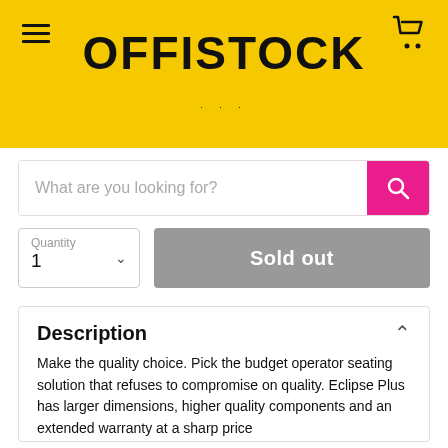OFFISTOCK
What are you looking for?
Quantity 1
Sold out
Description
Make the quality choice. Pick the budget operator seating solution that refuses to compromise on quality. Eclipse Plus has larger dimensions, higher quality components and an extended warranty at a sharp price
Built to EN1335 standards